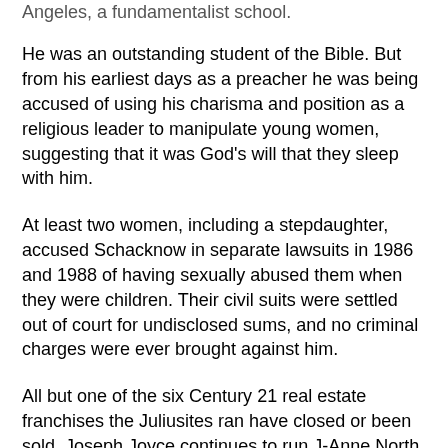Angeles, a fundamentalist school.
He was an outstanding student of the Bible. But from his earliest days as a preacher he was being accused of using his charisma and position as a religious leader to manipulate young women, suggesting that it was God's will that they sleep with him.
At least two women, including a stepdaughter, accused Schacknow in separate lawsuits in 1986 and 1988 of having sexually abused them when they were children. Their civil suits were settled out of court for undisclosed sums, and no criminal charges were ever brought against him.
All but one of the six Century 21 real estate franchises the Juliusites ran have closed or been sold. Joseph Joyce continues to run J-Anne North in Southington with a reduced staff.
County Wide has gone out of business. The 130 people who worked for County Wide and had money coming to them from two federally protected pension plans have found that nothing is left to pay them, court records show.